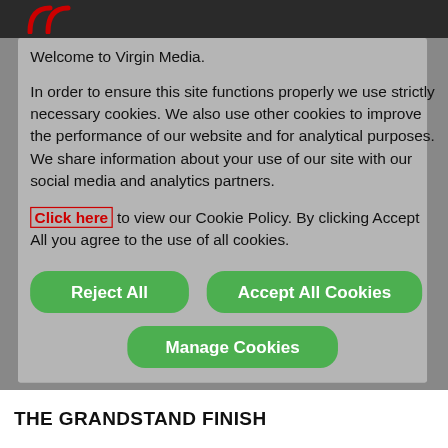[Figure (screenshot): Virgin Media logo partial (red arcs) visible in top dark bar]
Welcome to Virgin Media.
In order to ensure this site functions properly we use strictly necessary cookies. We also use other cookies to improve the performance of our website and for analytical purposes. We share information about your use of our site with our social media and analytics partners.
Click here to view our Cookie Policy. By clicking Accept All you agree to the use of all cookies.
Reject All
Accept All Cookies
Manage Cookies
THE GRANDSTAND FINISH